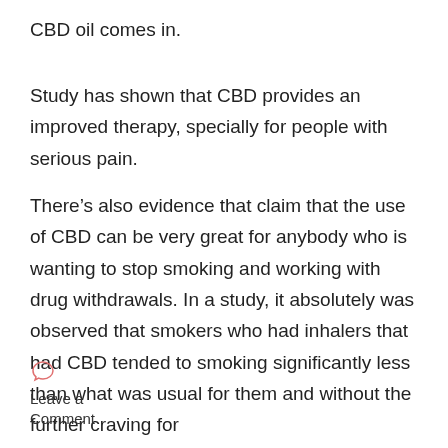CBD oil comes in.
Study has shown that CBD provides an improved therapy, specially for people with serious pain.
There’s also evidence that claim that the use of CBD can be very great for anybody who is wanting to stop smoking and working with drug withdrawals. In a study, it absolutely was observed that smokers who had inhalers that had CBD tended to smoking significantly less than what was usual for them and without the further craving for
Leave a Comment